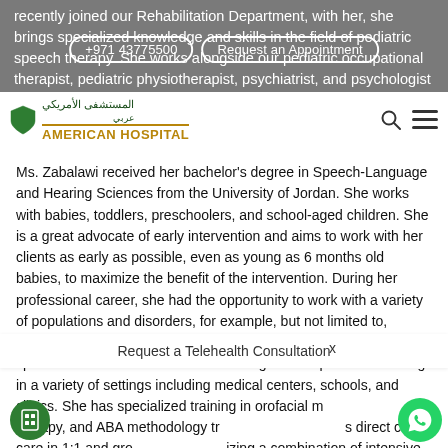recently joined our Rehabilitation Department, with her, she brings specialized knowledge and skills in the field of pediatric speech therapy. She works alongside our pediatric occupational therapist, pediatric physiotherapist, psychiatrist, and psychologist in a multidisciplinary team for assessment and treatment.
[Figure (screenshot): American Hospital website navigation bar with logo, Arabic text, search icon, and hamburger menu. Pill buttons for phone +971 43775500 and Request an Appointment.]
Ms. Zabalawi received her bachelor's degree in Speech-Language and Hearing Sciences from the University of Jordan. She works with babies, toddlers, preschoolers, and school-aged children. She is a great advocate of early intervention and aims to work with her clients as early as possible, even as young as 6 months old babies, to maximize the benefit of the intervention. During her professional career, she had the opportunity to work with a variety of populations and disorders, for example, but not limited to, children on the spectrum, language delays, apraxia of speech, and speech sound disorders. Ms. Zabalawi gained experience working in a variety of settings including medical centers, schools, and clinics. She has specialized training in orofacial myofunctional therapy, and ABA methodology training which includes direct client care in 1:1 and group settings, utilizing a combination of intensive teaching and natural environment training, using behavioral analysis methods to establish the foundations of learning and making the child ready for speech-language intervention, then using methods such as child-led approach and play
Request a Telehealth Consultation